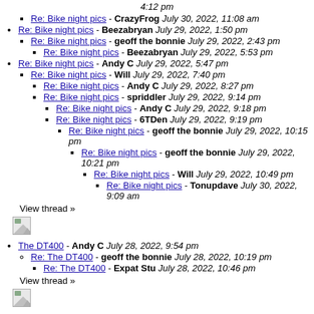4:12 pm
Re: Bike night pics - CrazyFrog July 30, 2022, 11:08 am
Re: Bike night pics - Beezabryan July 29, 2022, 1:50 pm
Re: Bike night pics - geoff the bonnie July 29, 2022, 2:43 pm
Re: Bike night pics - Beezabryan July 29, 2022, 5:53 pm
Re: Bike night pics - Andy C July 29, 2022, 5:47 pm
Re: Bike night pics - Will July 29, 2022, 7:40 pm
Re: Bike night pics - Andy C July 29, 2022, 8:27 pm
Re: Bike night pics - spriddler July 29, 2022, 9:14 pm
Re: Bike night pics - Andy C July 29, 2022, 9:18 pm
Re: Bike night pics - 6TDen July 29, 2022, 9:19 pm
Re: Bike night pics - geoff the bonnie July 29, 2022, 10:15 pm
Re: Bike night pics - geoff the bonnie July 29, 2022, 10:21 pm
Re: Bike night pics - Will July 29, 2022, 10:49 pm
Re: Bike night pics - Tonupdave July 30, 2022, 9:09 am
View thread »
[Figure (illustration): Broken image icon]
The DT400 - Andy C July 28, 2022, 9:54 pm
Re: The DT400 - geoff the bonnie July 28, 2022, 10:19 pm
Re: The DT400 - Expat Stu July 28, 2022, 10:46 pm
View thread »
[Figure (illustration): Broken image icon]